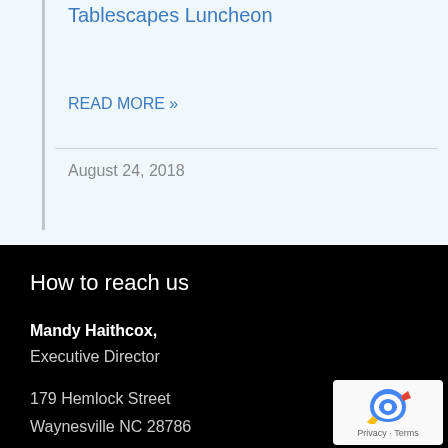Tablescapes Luncheon
READ MORE »
August 24, 2018
How to reach us
Mandy Haithcox, Executive Director
179 Hemlock Street
Waynesville NC 28786